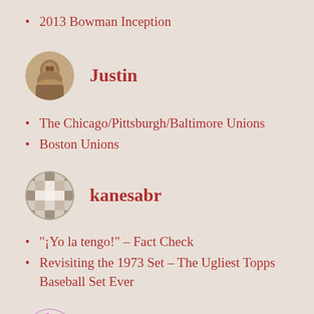2013 Bowman Inception
[Figure (photo): Circular avatar photo of user Justin, sepia-toned historical photograph of a person]
Justin
The Chicago/Pittsburgh/Baltimore Unions
Boston Unions
[Figure (photo): Circular avatar with checkered/pixel pattern for user kanesabr]
kanesabr
"¡Yo la tengo!" – Fact Check
Revisiting the 1973 Set – The Ugliest Topps Baseball Set Ever
[Figure (photo): Circular avatar with magenta/purple dot pattern for user kblumenau]
kblumenau